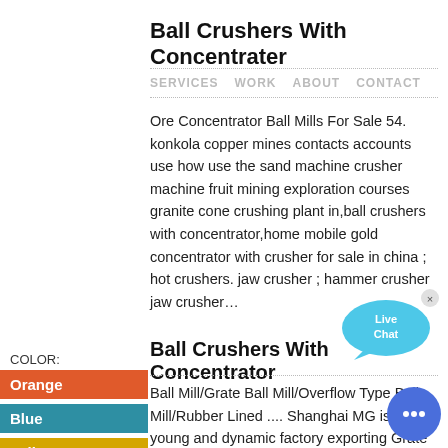Ball Crushers With Concentrater
SERVICES   WORK   ABOUT   CONTACT
Ore Concentrator Ball Mills For Sale 54. konkola copper mines contacts accounts use how use the sand machine crusher machine fruit mining exploration courses granite cone crushing plant in,ball crushers with concentrator,home mobile gold concentrator with crusher for sale in china ; hot crushers. jaw crusher ; hammer crusher jaw crusher…
Ball Crushers With Concentrator
[Figure (illustration): Live Chat speech bubble button in blue]
COLOR:
Orange
Blue
Yellow
Ball Mill/Grate Ball Mill/Overflow Type Ball Mill/Rubber Lined .... Shanghai MG is a young and dynamic factory exporting Grate Ball Mill,Overflow Type Ball Mill,Rubber Lined Ball Mill to the overseas market for
[Figure (illustration): Blue circular chat button with ellipsis icon]